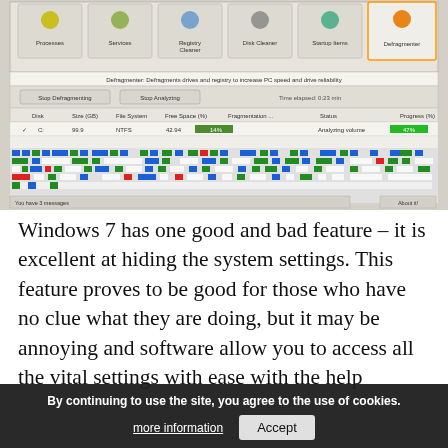[Figure (screenshot): Screenshot of a PC defragmentation software interface (Defragmenter tab active) showing drive C: being analyzed, with a disk map visualization showing colored blocks (blue, green, red, white) representing file states. Interface includes tabs for Processes, Services, Registry Cleaner, Disk Cleaner, Startup Items, Defragmenter. Shows 'Analyzing volume' status, 42.94% free space, 14% fragmentation, NTFS file system, size 99.9 GB.]
Windows 7 has one good and bad feature – it is excellent at hiding the system settings. This feature proves to be good for those who have no clue what they are doing, but it may be annoying and software allow you to access all the vital settings with ease with the help
By continuing to use the site, you agree to the use of cookies.
more information
Accept